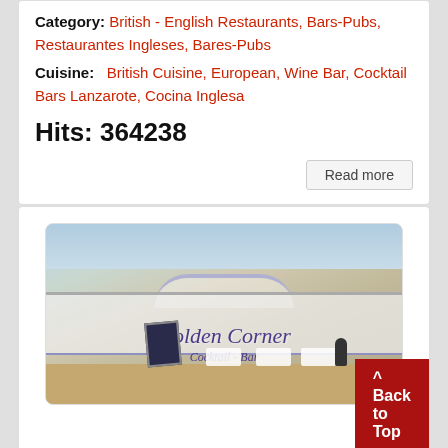Category: British - English Restaurants, Bars-Pubs, Restaurantes Ingleses, Bares-Pubs
Cuisine: British Cuisine, European, Wine Bar, Cocktail Bars Lanzarote, Cocina Inglesa
Hits: 364238
Read more
[Figure (photo): Exterior photo of Golden Corner Cocktail Bar, a white building with purple script signage reading 'Golden Corner Cocktail - Bar' and 'STEAK BAR', with outdoor seating and a chalkboard menu sign on a paved promenade area.]
^ Back to Top
Golden Corner Cocktail Bar